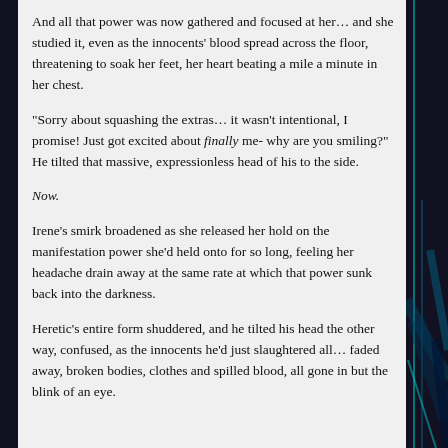And all that power was now gathered and focused at her… and she studied it, even as the innocents' blood spread across the floor, threatening to soak her feet, her heart beating a mile a minute in her chest.
“Sorry about squashing the extras… it wasn’t intentional, I promise! Just got excited about finally me- why are you smiling?” He tilted that massive, expressionless head of his to the side.
Now.
Irene’s smirk broadened as she released her hold on the manifestation power she’d held onto for so long, feeling her headache drain away at the same rate at which that power sunk back into the darkness.
Heretic’s entire form shuddered, and he tilted his head the other way, confused, as the innocents he’d just slaughtered all… faded away, broken bodies, clothes and spilled blood, all gone in but the blink of an eye.